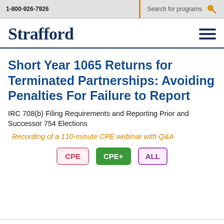1-800-926-7926  Search for programs
Strafford
Short Year 1065 Returns for Terminated Partnerships: Avoiding Penalties For Failure to Report
IRC 708(b) Filing Requirements and Reporting Prior and Successor 754 Elections
Recording of a 110-minute CPE webinar with Q&A
CPE  CPE+  ALL